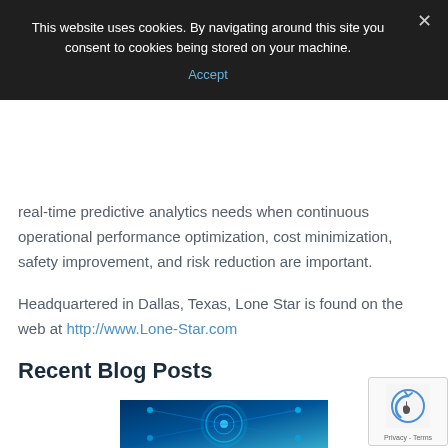This website uses cookies. By navigating around this site you consent to cookies being stored on your machine.
Accept
real-time predictive analytics needs when continuous operational performance optimization, cost minimization, safety improvement, and risk reduction are important.
Headquartered in Dallas, Texas, Lone Star is found on the web at http://www.Lone-Star.com
Recent Blog Posts
[Figure (photo): Blue technology/digital network themed image for blog post thumbnail]